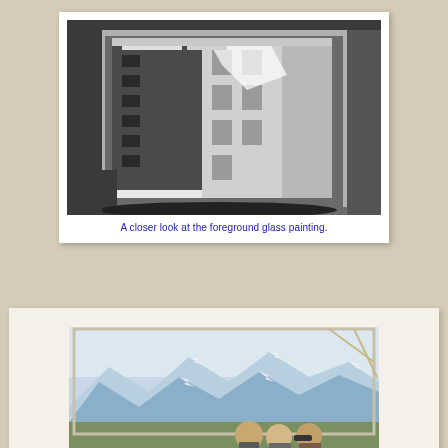[Figure (photo): Black and white photograph of a large framed glass painting showing a multi-story building facade, held upright in a workshop or studio setting.]
A closer look at the foreground glass painting.
[Figure (photo): Color photograph showing a large backdrop or screen with a painted mountain landscape (snow-capped peaks), with several people visible in the foreground.]